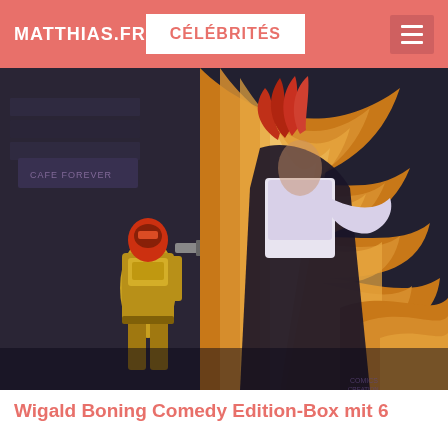MATTHIAS.FR   CÉLÉBRITÉS
[Figure (illustration): Fantasy/sci-fi book cover artwork showing a winged female figure with large golden-orange feathered wings in the foreground, wearing dark clothing, with red hair. In the background, an armored robot/soldier figure in orange and yellow armor holds a weapon. Dark urban/city backdrop. Painted illustration style.]
Wigald Boning Comedy Edition-Box mit 6